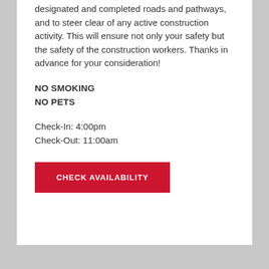designated and completed roads and pathways, and to steer clear of any active construction activity. This will ensure not only your safety but the safety of the construction workers. Thanks in advance for your consideration!
NO SMOKING
NO PETS
Check-In: 4:00pm
Check-Out: 11:00am
CHECK AVAILABILITY